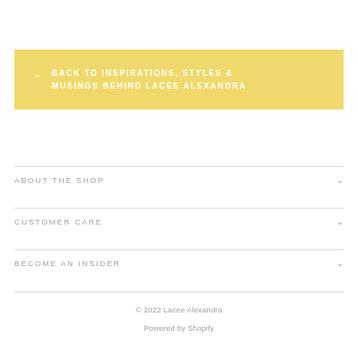← BACK TO INSPIRATIONS, STYLES & MUSINGS BEHIND LACEE ALEXANDRA
ABOUT THE SHOP
CUSTOMER CARE
BECOME AN INSIDER
© 2022 Lacee Alexandra
Powered by Shopify